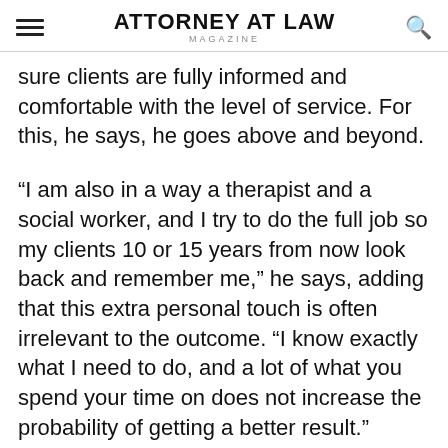ATTORNEY AT LAW MAGAZINE
sure clients are fully informed and comfortable with the level of service. For this, he says, he goes above and beyond.
“I am also in a way a therapist and a social worker, and I try to do the full job so my clients 10 or 15 years from now look back and remember me,” he says, adding that this extra personal touch is often irrelevant to the outcome. “I know exactly what I need to do, and a lot of what you spend your time on does not increase the probability of getting a better result.”